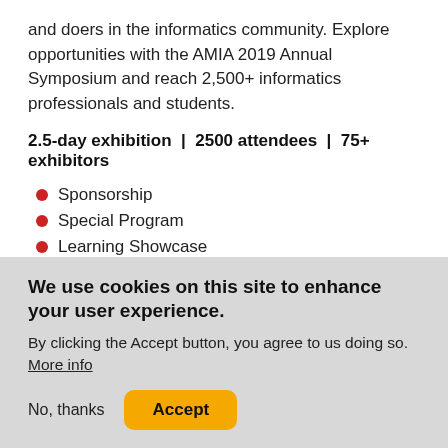and doers in the informatics community. Explore opportunities with the AMIA 2019 Annual Symposium and reach 2,500+ informatics professionals and students.
2.5-day exhibition  |  2500 attendees  |  75+ exhibitors
Sponsorship
Special Program
Learning Showcase
Exhibition Hall
We use cookies on this site to enhance your user experience.
By clicking the Accept button, you agree to us doing so.
More info
No, thanks  Accept